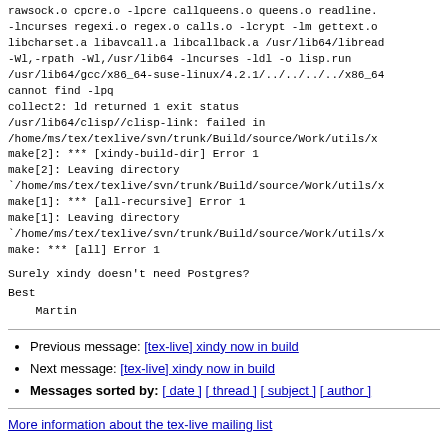rawsock.o cpcre.o -lpcre callqueens.o queens.o readline.
-lncurses regexi.o regex.o calls.o -lcrypt -lm gettext.o
libcharset.a libavcall.a libcallback.a /usr/lib64/librea
-Wl,-rpath -Wl,/usr/lib64 -lncurses -ldl -o lisp.run
/usr/lib64/gcc/x86_64-suse-linux/4.2.1/../../../../x86_6
cannot find -lpq
collect2: ld returned 1 exit status
/usr/lib64/clisp//clisp-link: failed in
/home/ms/tex/texlive/svn/trunk/Build/source/Work/utils/x
make[2]: *** [xindy-build-dir] Error 1
make[2]: Leaving directory
`/home/ms/tex/texlive/svn/trunk/Build/source/Work/utils/x
make[1]: *** [all-recursive] Error 1
make[1]: Leaving directory
`/home/ms/tex/texlive/svn/trunk/Build/source/Work/utils/x
make: *** [all] Error 1
Surely xindy doesn't need Postgres?
Best
    Martin
Previous message: [tex-live] xindy now in build
Next message: [tex-live] xindy now in build
Messages sorted by: [ date ] [ thread ] [ subject ] [ author ]
More information about the tex-live mailing list